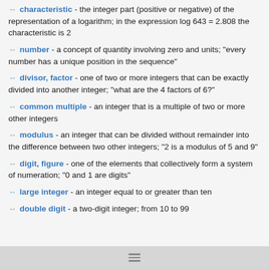characteristic - the integer part (positive or negative) of the representation of a logarithm; in the expression log 643 = 2.808 the characteristic is 2
number - a concept of quantity involving zero and units; "every number has a unique position in the sequence"
divisor, factor - one of two or more integers that can be exactly divided into another integer; "what are the 4 factors of 6?"
common multiple - an integer that is a multiple of two or more other integers
modulus - an integer that can be divided without remainder into the difference between two other integers; "2 is a modulus of 5 and 9"
digit, figure - one of the elements that collectively form a system of numeration; "0 and 1 are digits"
large integer - an integer equal to or greater than ten
double digit - a two-digit integer; from 10 to 99